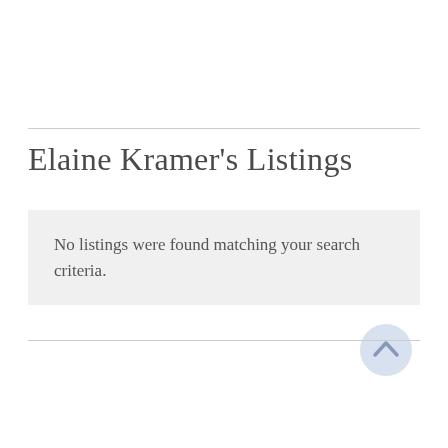Elaine Kramer's Listings
No listings were found matching your search criteria.
[Figure (illustration): A light blue circular button with an upward-pointing chevron/caret arrow icon, used as a scroll-to-top button.]